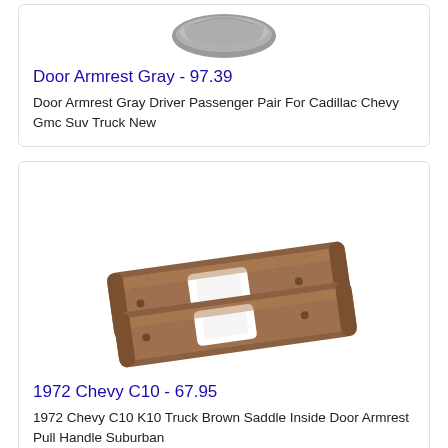[Figure (photo): Partial view of a gray door armrest product photo, cropped at top]
Door Armrest Gray - 97.39
Door Armrest Gray Driver Passenger Pair For Cadillac Chevy Gmc Suv Truck New
[Figure (photo): Brown/saddle colored 1972 Chevy C10 K10 truck inside door armrest pull handle pair, shown from above on white background]
1972 Chevy C10 - 67.95
1972 Chevy C10 K10 Truck Brown Saddle Inside Door Armrest Pull Handle Suburban